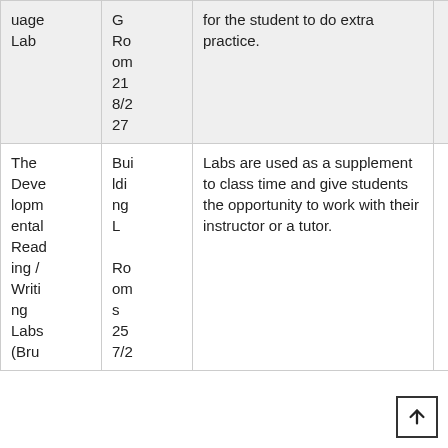| Name | Location | Description | Pages |
| --- | --- | --- | --- |
| ...uage Lab | G Ro om 21 8/2 27 | for the student to do extra practice. | 9- 73 46 |
| The Developmental Reading / Writing Labs (Bru... | Bui ldi ng L Ro om s 25 7/2 49 | Labs are used as a supplement to class time and give students the opportunity to work with their instructor or a tutor. |  |